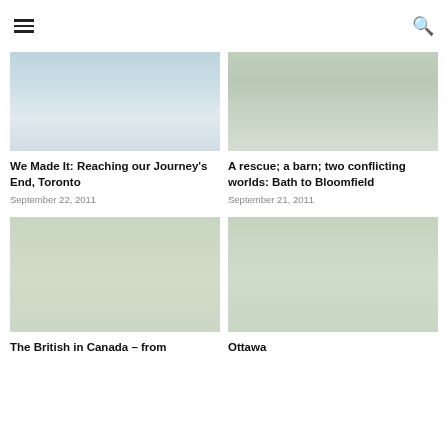≡ (hamburger menu) | 🔍 (search)
[Figure (photo): Niagara Falls wide shot with mist and water]
[Figure (photo): People sitting at a barn or outdoor wooden structure]
We Made It: Reaching our Journey's End, Toronto
September 22, 2011
A rescue; a barn; two conflicting worlds: Bath to Bloomfield
September 21, 2011
[Figure (photo): A tent set up in a green field with trees in background]
[Figure (photo): Two people standing with a pram under trees]
The British in Canada – from
Ottawa